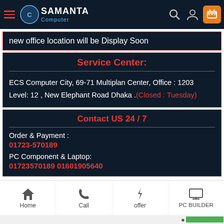Samanta Computer
new office location will be Display Soon
Service Center:
ECS Computer City, 69-71 Multiplan Center, Office : 1203 Level: 12 , New Elephant Road Dhaka . (Closed : Tuesday)
Contact US 24 / 7
Order & Payment :
01723-570189
PC Component & Laptop:
01723570189 01601905640
Home  Call  offer  PC BUILDER